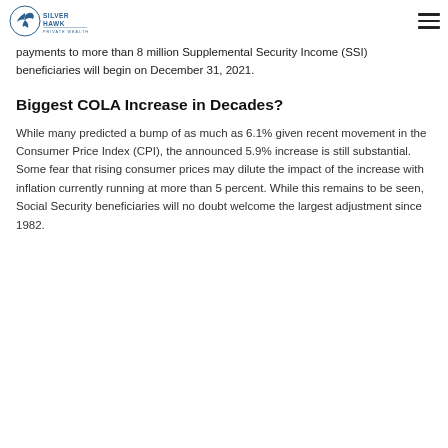Silver Hawk Private Wealth
benefits payable to more than 64 million Social Security beneficiaries in January 2022. Additionally, increased payments to more than 8 million Supplemental Security Income (SSI) beneficiaries will begin on December 31, 2021.
Biggest COLA Increase in Decades?
While many predicted a bump of as much as 6.1% given recent movement in the Consumer Price Index (CPI), the announced 5.9% increase is still substantial. Some fear that rising consumer prices may dilute the impact of the increase with inflation currently running at more than 5 percent. While this remains to be seen, Social Security beneficiaries will no doubt welcome the largest adjustment since 1982.